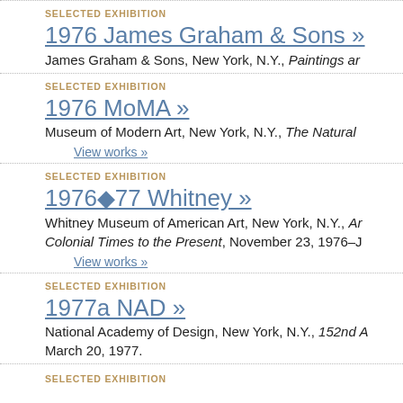SELECTED EXHIBITION
1976 James Graham & Sons »
James Graham & Sons, New York, N.Y., Paintings an
SELECTED EXHIBITION
1976 MoMA »
Museum of Modern Art, New York, N.Y., The Natural
View works »
SELECTED EXHIBITION
1976–77 Whitney »
Whitney Museum of American Art, New York, N.Y., An Colonial Times to the Present, November 23, 1976–J
View works »
SELECTED EXHIBITION
1977a NAD »
National Academy of Design, New York, N.Y., 152nd A March 20, 1977.
SELECTED EXHIBITION